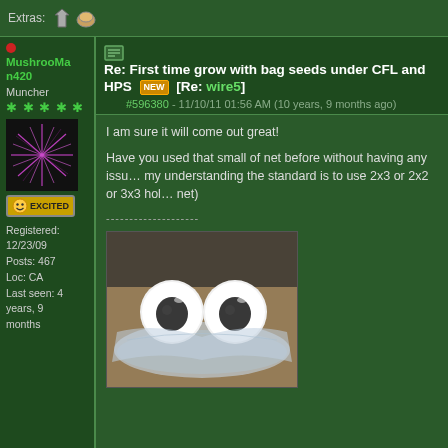Extras:
Re: First time grow with bag seeds under CFL and HPS [NEW] [Re: wire5]
#596380 - 11/10/11 01:56 AM (10 years, 9 months ago)
MushrooMan420
Muncher
Registered: 12/23/09
Posts: 467
Loc: CA
Last seen: 4 years, 9 months
I am sure it will come out great!

Have you used that small of net before without having any issues? From my understanding the standard is to use 2x3 or 2x2 or 3x3 holes (in net)
[Figure (photo): Photo of two large googly eyes placed on a plastic bag on a wooden surface, arranged to look like a face]